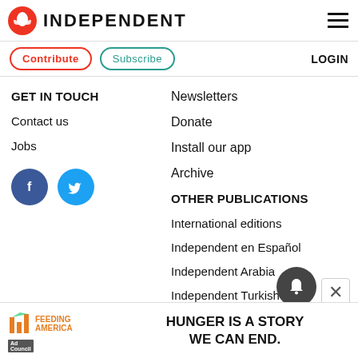[Figure (logo): Independent newspaper logo with eagle icon and INDEPENDENT text]
Contribute
Subscribe
LOGIN
GET IN TOUCH
Contact us
Jobs
[Figure (illustration): Facebook and Twitter social media icons]
Newsletters
Donate
Install our app
Archive
OTHER PUBLICATIONS
International editions
Independent en Español
Independent Arabia
Independent Turkish
Independent Persian
[Figure (other): Ad banner: Feeding America - HUNGER IS A STORY WE CAN END.]